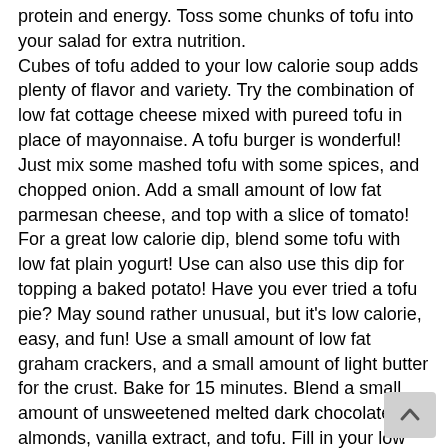protein and energy. Toss some chunks of tofu into your salad for extra nutrition.
Cubes of tofu added to your low calorie soup adds plenty of flavor and variety. Try the combination of low fat cottage cheese mixed with pureed tofu in place of mayonnaise. A tofu burger is wonderful! Just mix some mashed tofu with some spices, and chopped onion. Add a small amount of low fat parmesan cheese, and top with a slice of tomato!
For a great low calorie dip, blend some tofu with low fat plain yogurt! Use can also use this dip for topping a baked potato! Have you ever tried a tofu pie? May sound rather unusual, but it's low calorie, easy, and fun! Use a small amount of low fat graham crackers, and a small amount of light butter for the crust. Bake for 15 minutes. Blend a small amount of unsweetened melted dark chocolate, almonds, vanilla extract, and tofu. Fill in your low calorie graham cracker pie crust and chill for about 4 hours! Enjoy!
The Power Blast!
Calories: 4 ounces, raw 86 calories
Protein: 9.16 g
Fiber: 24 g
[Figure (other): Navigation button with up arrow (back to top)]